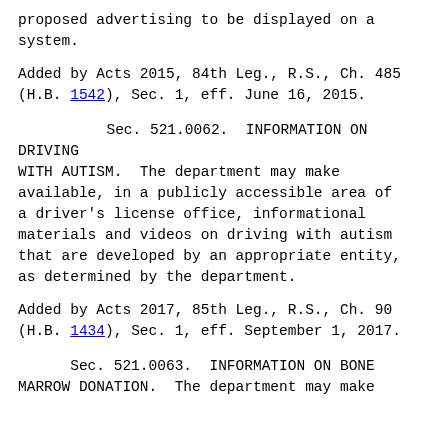proposed advertising to be displayed on a system.
Added by Acts 2015, 84th Leg., R.S., Ch. 485 (H.B. 1542), Sec. 1, eff. June 16, 2015.
Sec. 521.0062.  INFORMATION ON DRIVING WITH AUTISM.  The department may make available, in a publicly accessible area of a driver's license office, informational materials and videos on driving with autism that are developed by an appropriate entity, as determined by the department.
Added by Acts 2017, 85th Leg., R.S., Ch. 90 (H.B. 1434), Sec. 1, eff. September 1, 2017.
Sec. 521.0063.  INFORMATION ON BONE MARROW DONATION.  The department may make